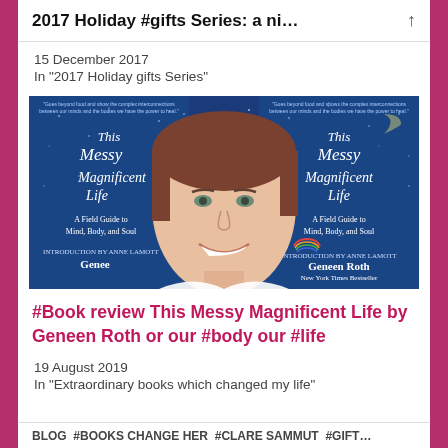2017 Holiday #gifts Series: a ni…
15 December 2017
In "2017 Holiday gifts Series"
[Figure (photo): Book cover for 'This Messy Magnificent Life: A Field Guide to Mind, Body, and Soul' by Geneen Roth, shown twice side by side with a smiling woman's face in the center. Blue starry background.]
#Book review This Messy Magnificent Life by Geneen Roth or our #body our #life
19 August 2019
In "Extraordinary books which changed my life"
BLOG   #BOOKS CHANGE HER   #Clare SAMMUT   #GIFT…